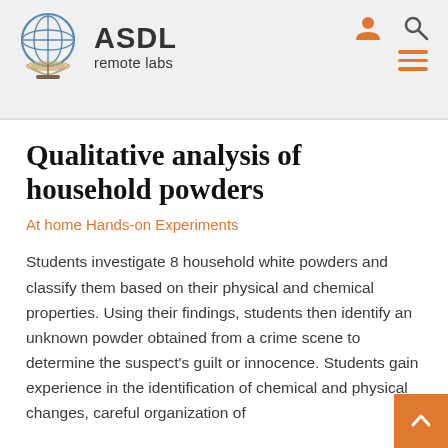[Figure (logo): ASDL remote labs logo with globe and book icon]
Qualitative analysis of household powders
At home Hands-on Experiments
Students investigate 8 household white powders and classify them based on their physical and chemical properties. Using their findings, students then identify an unknown powder obtained from a crime scene to determine the suspect's guilt or innocence. Students gain experience in the identification of chemical and physical changes, careful organization of